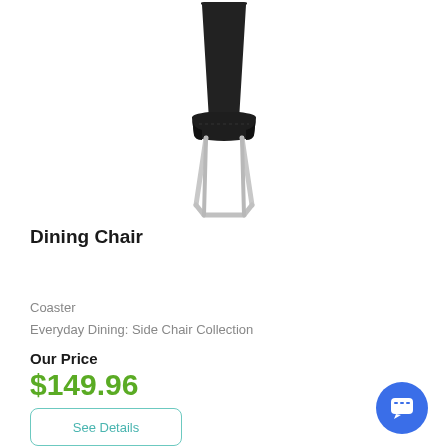[Figure (photo): A black modern dining chair with a high back upholstered in black leatherette and chrome cantilever metal legs, photographed on a white background.]
Dining Chair
Coaster
Everyday Dining: Side Chair Collection
Our Price
$149.96
See Details